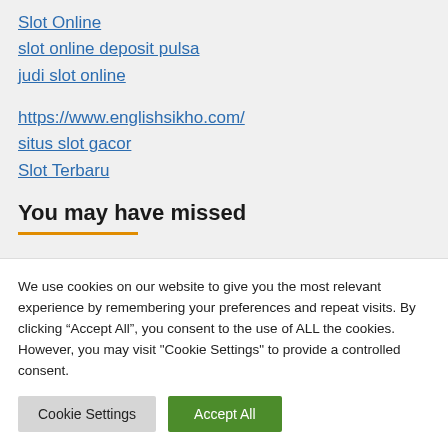Slot Online
slot online deposit pulsa
judi slot online
https://www.englishsikho.com/
situs slot gacor
Slot Terbaru
You may have missed
We use cookies on our website to give you the most relevant experience by remembering your preferences and repeat visits. By clicking “Accept All”, you consent to the use of ALL the cookies. However, you may visit "Cookie Settings" to provide a controlled consent.
Cookie Settings  Accept All